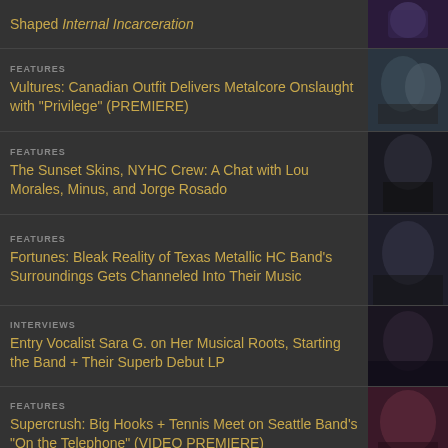Shaped Internal Incarceration
FEATURES
Vultures: Canadian Outfit Delivers Metalcore Onslaught with "Privilege" (PREMIERE)
FEATURES
The Sunset Skins, NYHC Crew: A Chat with Lou Morales, Minus, and Jorge Rosado
FEATURES
Fortunes: Bleak Reality of Texas Metallic HC Band's Surroundings Gets Channeled Into Their Music
INTERVIEWS
Entry Vocalist Sara G. on Her Musical Roots, Starting the Band + Their Superb Debut LP
FEATURES
Supercrush: Big Hooks + Tennis Meet on Seattle Band's "On the Telephone" (VIDEO PREMIERE)
FEATURES
War Orphan: Ex-Sick of It All, Reach Members Deliver Raw Hardcore on "Identity Politics"